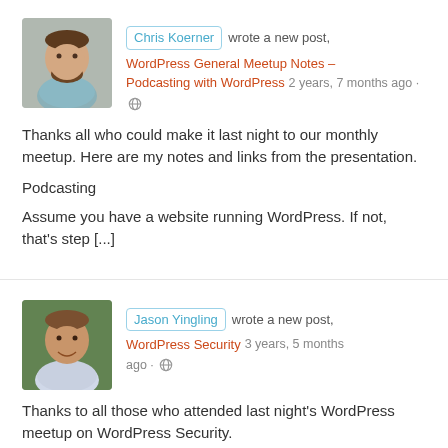[Figure (photo): Profile photo of Chris Koerner, a man with a beard wearing a light blue shirt]
Chris Koerner wrote a new post, WordPress General Meetup Notes – Podcasting with WordPress 2 years, 7 months ago · 🌐
Thanks all who could make it last night to our monthly meetup. Here are my notes and links from the presentation.
Podcasting
Assume you have a website running WordPress. If not, that's step [...]
[Figure (photo): Profile photo of Jason Yingling, a smiling man outdoors]
Jason Yingling wrote a new post, WordPress Security 3 years, 5 months ago · 🌐
Thanks to all those who attended last night's WordPress meetup on WordPress Security.
Here are the slides from both presentations. If you have any questions feel free to reach out to @jason_yingling or [...]